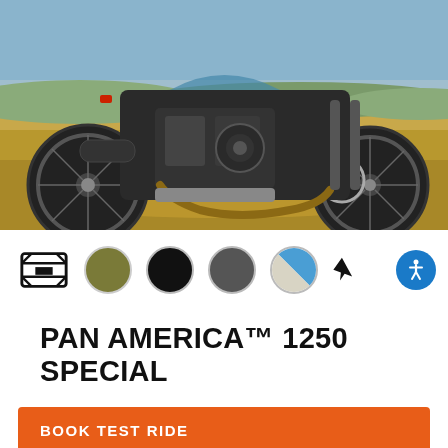[Figure (photo): Harley-Davidson Pan America 1250 Special motorcycle photographed outdoors on a dirt/desert road, showing the engine, frame, and both wheels with knobby tires. Background shows arid landscape with blue sky.]
[Figure (other): Row of color swatches showing Harley-Davidson logo/shield icon followed by four color options: olive green, black, dark gray, and blue/gray split. An accessibility icon button appears on the right.]
PAN AMERICA™ 1250 SPECIAL
BOOK TEST RIDE